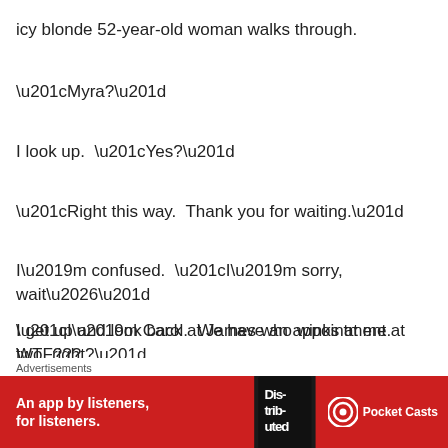icy blonde 52-year-old woman walks through.
“Myra?”
I look up.  “Yes?”
“Right this way.  Thank you for waiting.”
I’m confused.  “I’m sorry, wait…”
“I’m Carol.  We have an appointment at two, right?”
I get up and look back at James who winks at me. WTF???
I walk into Carol’s office.
Advertisements
[Figure (other): Pocket Casts advertisement banner: red background with text 'An app by listeners, for listeners.' and Pocket Casts logo with a phone image showing 'Distributed' text.]